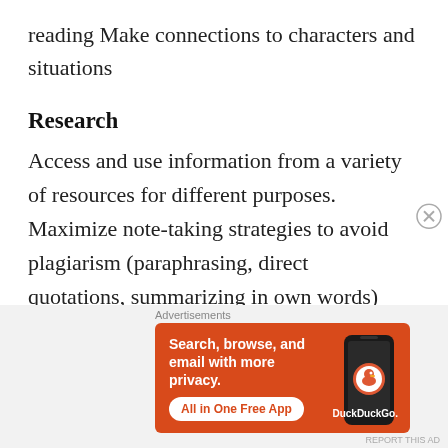reading Make connections to characters and situations
Research
Access and use information from a variety of resources for different purposes. Maximize note-taking strategies to avoid plagiarism (paraphrasing, direct quotations, summarizing in own words)
[Figure (other): DuckDuckGo advertisement banner: 'Search, browse, and email with more privacy. All in One Free App' with DuckDuckGo logo and phone graphic on orange background]
Advertisements